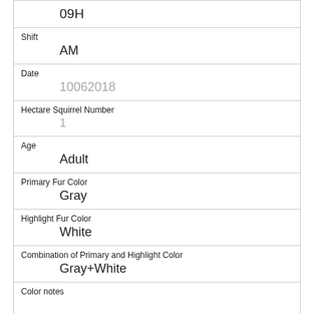09H
Shift
AM
Date
10062018
Hectare Squirrel Number
1
Age
Adult
Primary Fur Color
Gray
Highlight Fur Color
White
Combination of Primary and Highlight Color
Gray+White
Color notes
Location
Ground Plane
Above Ground Sighter Measurement
FALSE